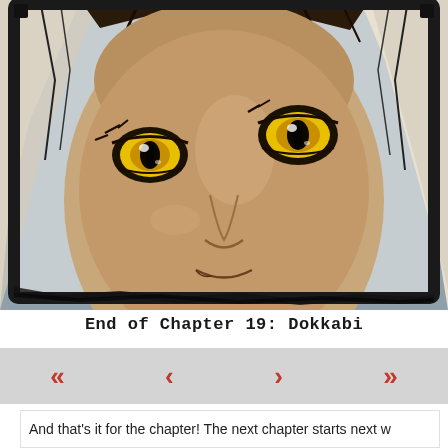[Figure (illustration): Close-up illustration of a manga/comic character with striking yellow cat-like eyes, dark skin, and long white/blonde hair. The face fills most of the panel. The panel has a thick black border with slightly grungy edges, and a dark grey background.]
End of Chapter 19: Dokkabi
«   <   >   »
And that's it for the chapter! The next chapter starts next w